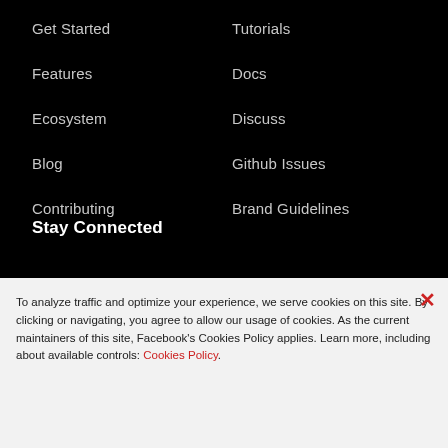Get Started
Features
Ecosystem
Blog
Contributing
Tutorials
Docs
Discuss
Github Issues
Brand Guidelines
Stay Connected
To analyze traffic and optimize your experience, we serve cookies on this site. By clicking or navigating, you agree to allow our usage of cookies. As the current maintainers of this site, Facebook's Cookies Policy applies. Learn more, including about available controls: Cookies Policy.